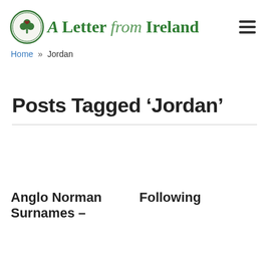A Letter from Ireland
Home » Jordan
Posts Tagged ‘Jordan’
Anglo Norman Surnames – Following